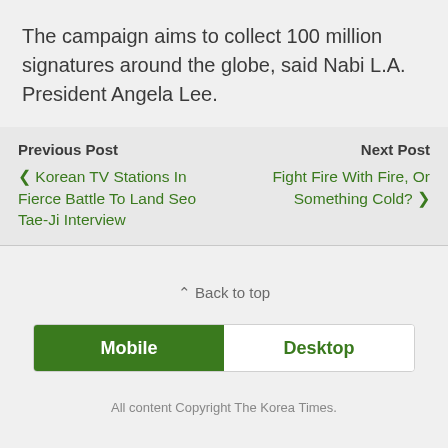The campaign aims to collect 100 million signatures around the globe, said Nabi L.A. President Angela Lee.
Previous Post
❮ Korean TV Stations In Fierce Battle To Land Seo Tae-Ji Interview
Next Post
Fight Fire With Fire, Or Something Cold? ❯
⌃ Back to top
Mobile
Desktop
All content Copyright The Korea Times.